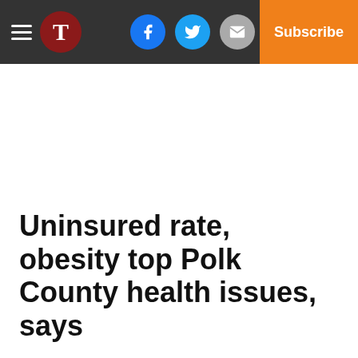T | Log In | Subscribe
Uninsured rate, obesity top Polk County health issues, says